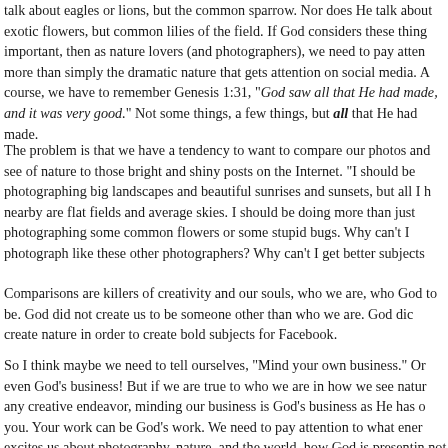talk about eagles or lions, but the common sparrow. Nor does He talk about exotic flowers, but common lilies of the field. If God considers these things important, then as nature lovers (and photographers), we need to pay attention more than simply the dramatic nature that gets attention on social media. And of course, we have to remember Genesis 1:31, "God saw all that He had made, and it was very good." Not some things, a few things, but all that He had made.
The problem is that we have a tendency to want to compare our photos and what we see of nature to those bright and shiny posts on the Internet. "I should be photographing big landscapes and beautiful sunrises and sunsets, but all I have nearby are flat fields and average skies. I should be doing more than just photographing some common flowers or some stupid bugs. Why can't I photograph like these other photographers? Why can't I get better subjects?"
Comparisons are killers of creativity and our souls, who we are, who God made us to be. God did not create us to be someone other than who we are. God did not create nature in order to create bold subjects for Facebook.
So I think maybe we need to tell ourselves, "Mind your own business." Or maybe even God's business! But if we are true to who we are in how we see nature and any creative endeavor, minding our business is God's business as He has created you. Your work can be God's work. We need to pay attention to what energizes and excites us about photography, nature, and the world, how God is presenting it to us, not how someone else is dealing with that.